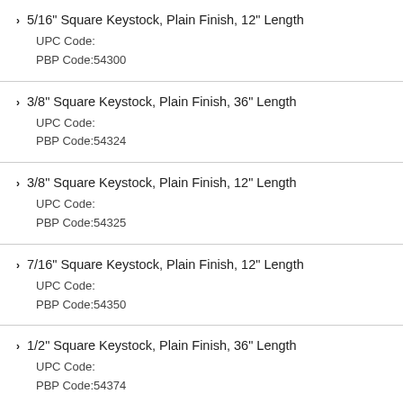5/16" Square Keystock, Plain Finish, 12" Length
UPC Code:
PBP Code:54300
3/8" Square Keystock, Plain Finish, 36" Length
UPC Code:
PBP Code:54324
3/8" Square Keystock, Plain Finish, 12" Length
UPC Code:
PBP Code:54325
7/16" Square Keystock, Plain Finish, 12" Length
UPC Code:
PBP Code:54350
1/2" Square Keystock, Plain Finish, 36" Length
UPC Code:
PBP Code:54374